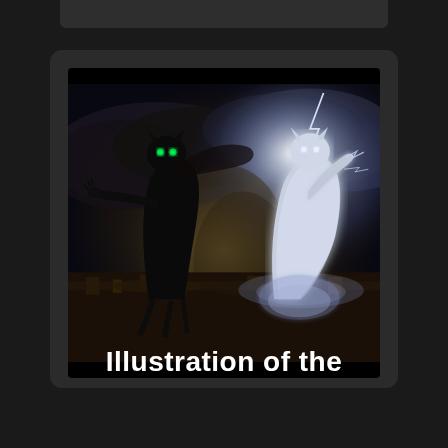[Figure (illustration): A dramatic fantasy/sci-fi digital illustration showing two giant cat-like creatures facing each other over a cityscape. On the left is a dark, shadowy black cat creature with glowing green eyes standing upright with one arm outstretched. On the right is a luminous white/silver cat creature surrounded by bright light and electricity. The background features stormy clouds, lightning, smoke, and a ruined city below. The scene resembles an epic battle between good and evil entities.]
Illustration of the